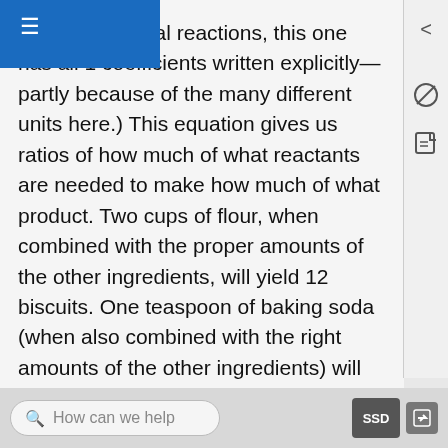ke true chemical reactions, this one has all 1 coefficients written explicitly—partly because of the many different units here.) This equation gives us ratios of how much of what reactants are needed to make how much of what product. Two cups of flour, when combined with the proper amounts of the other ingredients, will yield 12 biscuits. One teaspoon of baking soda (when also combined with the right amounts of the other ingredients) will make 12 biscuits. One egg must be combined with 1 cup of milk to yield the product food. Other relationships can also be expressed.
We can use the ratios we derive from the equation for predictive purposes. For instance, if we have 4